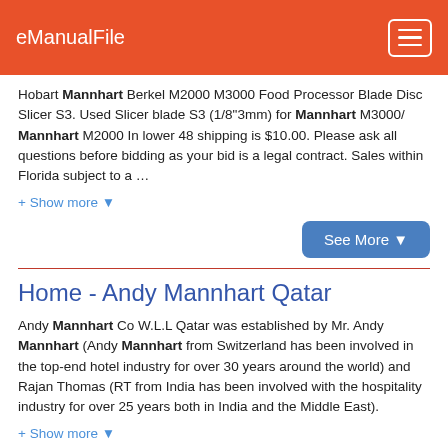eManualFile
Hobart Mannhart Berkel M2000 M3000 Food Processor Blade Disc Slicer S3. Used Slicer blade S3 (1/8"3mm) for Mannhart M3000/ Mannhart M2000 In lower 48 shipping is $10.00. Please ask all questions before bidding as your bid is a legal contract. Sales within Florida subject to a …
+ Show more ▾
See More ▾
Home - Andy Mannhart Qatar
Andy Mannhart Co W.L.L Qatar was established by Mr. Andy Mannhart (Andy Mannhart from Switzerland has been involved in the top-end hotel industry for over 30 years around the world) and Rajan Thomas (RT from India has been involved with the hospitality industry for over 25 years both in India and the Middle East).
+ Show more ▾